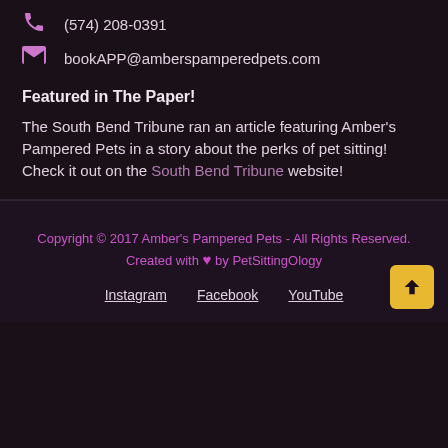South Bend, IN 46637
(574) 208-0391
bookAPP@amberspamperedpets.com
Featured in The Paper!
The South Bend Tribune ran an article featuring Amber's Pampered Pets in a story about the perks of pet sitting! Check it out on the South Bend Tribune website!
Copyright © 2017 Amber's Pampered Pets - All Rights Reserved. Created with ♥ by PetSittingOlogy
Instagram  Facebook  YouTube